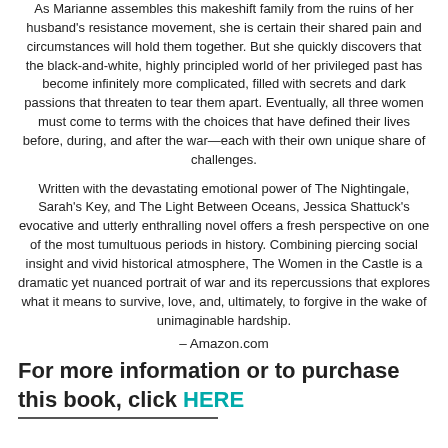As Marianne assembles this makeshift family from the ruins of her husband's resistance movement, she is certain their shared pain and circumstances will hold them together. But she quickly discovers that the black-and-white, highly principled world of her privileged past has become infinitely more complicated, filled with secrets and dark passions that threaten to tear them apart. Eventually, all three women must come to terms with the choices that have defined their lives before, during, and after the war—each with their own unique share of challenges.
Written with the devastating emotional power of The Nightingale, Sarah's Key, and The Light Between Oceans, Jessica Shattuck's evocative and utterly enthralling novel offers a fresh perspective on one of the most tumultuous periods in history. Combining piercing social insight and vivid historical atmosphere, The Women in the Castle is a dramatic yet nuanced portrait of war and its repercussions that explores what it means to survive, love, and, ultimately, to forgive in the wake of unimaginable hardship.
– Amazon.com
For more information or to purchase this book, click HERE